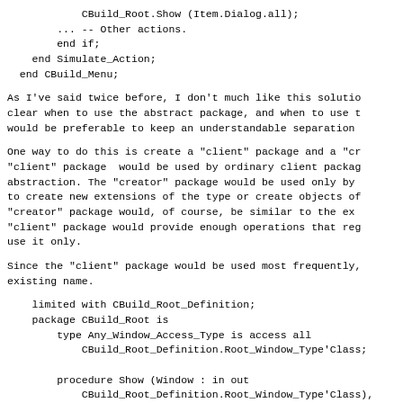CBuild_Root.Show (Item.Dialog.all);
        ... -- Other actions.
        end if;
    end Simulate_Action;
  end CBuild_Menu;
As I've said twice before, I don't much like this solutio
clear when to use the abstract package, and when to use t
would be preferable to keep an understandable separation
One way to do this is create a "client" package and a "cr
"client" package  would be used by ordinary client packag
abstraction. The "creator" package would be used only by
to create new extensions of the type or create objects of
"creator" package would, of course, be similar to the ex
"client" package would provide enough operations that reg
use it only.
Since the "client" package would be used most frequently,
existing name.
limited with CBuild_Root_Definition;
    package CBuild_Root is
        type Any_Window_Access_Type is access all
            CBuild_Root_Definition.Root_Window_Type'Class;

        procedure Show (Window : in out
            CBuild_Root_Definition.Root_Window_Type'Class),
        procedure Hide (Window : in out
            CBuild_Root_Definition.Root_Window_Type'Class)